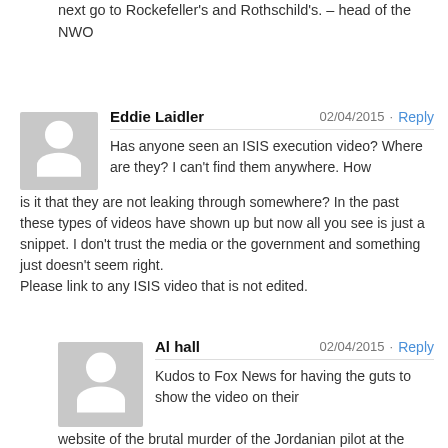next go to Rockefeller's and Rothschild's. – head of the NWO
[Figure (illustration): Gray avatar placeholder icon for Eddie Laidler]
Eddie Laidler  02/04/2015 · Reply
Has anyone seen an ISIS execution video? Where are they? I can't find them anywhere. How is it that they are not leaking through somewhere? In the past these types of videos have shown up but now all you see is just a snippet. I don't trust the media or the government and something just doesn't seem right.
Please link to any ISIS video that is not edited.
[Figure (illustration): Gray avatar placeholder icon for Al hall]
Al hall  02/04/2015 · Reply
Kudos to Fox News for having the guts to show the video on their website of the brutal murder of the Jordanian pilot at the hands of the ISIS terrorists.
Wed, Feb 4, 2015 at 9:49 am ET